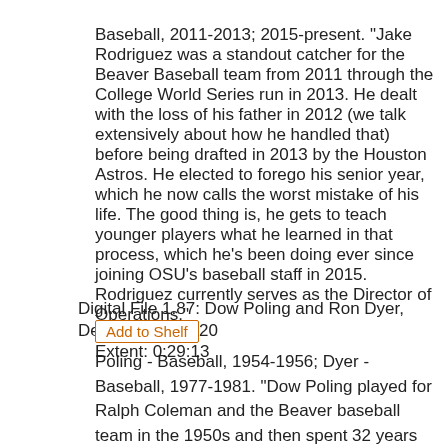Baseball, 2011-2013; 2015-present. "Jake Rodriguez was a standout catcher for the Beaver Baseball team from 2011 through the College World Series run in 2013. He dealt with the loss of his father in 2012 (we talk extensively about how he handled that) before being drafted in 2013 by the Houston Astros. He elected to forego his senior year, which he now calls the worst mistake of his life. The good thing is, he gets to teach younger players what he learned in that process, which he's been doing ever since joining OSU's baseball staff in 2015. Rodriguez currently serves as the Director of Operations."
Extent: 0:29:13
Digital File 1.87: Dow Poling and Ron Dyer, December 7, 2020
Add to Shelf
Poling - Baseball, 1954-1956; Dyer - Baseball, 1977-1981. "Dow Poling played for Ralph Coleman and the Beaver baseball team in the 1950s and then spent 32 years on staff at OSU as a teacher and advisor. In 1977, another baseball player arrived by the name of Ron Dyer. His advisor? Dow Poling. The two have remained friends ever since and I sat down for a socially distanced chat with both of them about